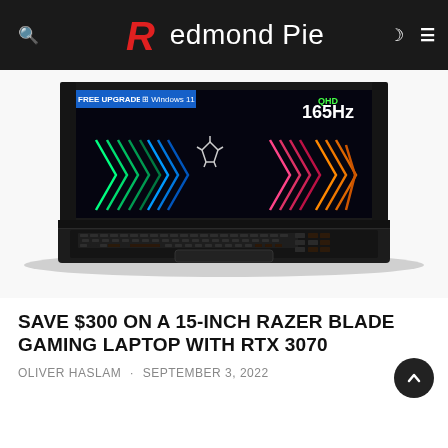Redmond Pie
[Figure (photo): A Razer Blade 15-inch gaming laptop photographed from above-front angle, open with the screen showing a colorful neon chevron/arrow pattern on a dark background with QHD 165Hz text in top right corner and the Razer logo in center. The laptop body is matte black with RGB backlit keyboard.]
SAVE $300 ON A 15-INCH RAZER BLADE GAMING LAPTOP WITH RTX 3070
OLIVER HASLAM · SEPTEMBER 3, 2022